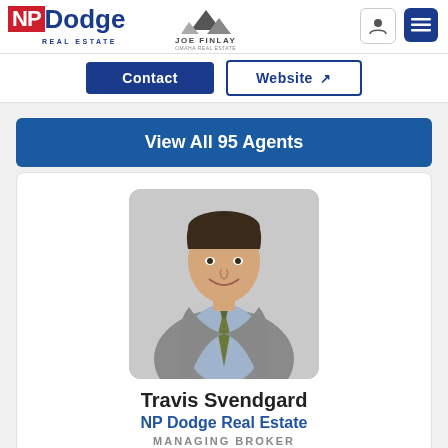NP Dodge Real Estate — Joe Finlay Omaha Real Estate
Contact | Website
View All 95 Agents
[Figure (photo): Professional headshot of Travis Svendgard, a man in a grey suit and striped tie, smiling, against a white background.]
Travis Svendgard
NP Dodge Real Estate
MANAGING BROKER
Licensed in Iowa/Nebraska